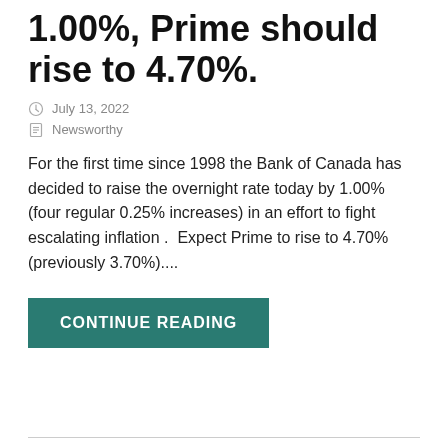1.00%, Prime should rise to 4.70%.
July 13, 2022
Newsworthy
For the first time since 1998 the Bank of Canada has decided to raise the overnight rate today by 1.00% (four regular 0.25% increases) in an effort to fight escalating inflation .  Expect Prime to rise to 4.70% (previously 3.70%)....
CONTINUE READING